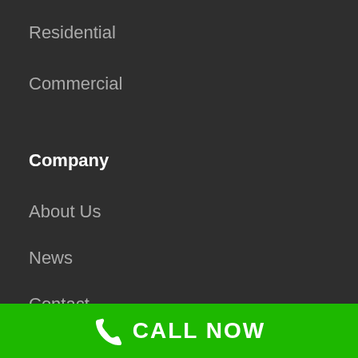Residential
Commercial
Company
About Us
News
Contact
CALL NOW